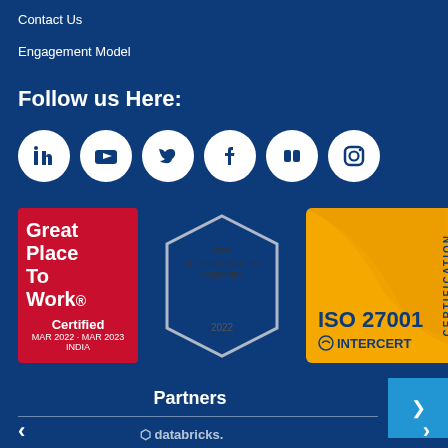Contact Us
Engagement Model
Follow us Here:
[Figure (illustration): Six social media icon circles: LinkedIn, YouTube, Twitter, Facebook, Flickr, Instagram]
[Figure (illustration): Great Place To Work Certified MAR 2022 - MAR 2023 INDIA badge (red background)]
[Figure (illustration): Clutch Top App Modernization Companies 2022 hexagon badge]
[Figure (illustration): ISO 27001 INTERCERT CERTIFICATION badge (gold/yellow background)]
Partners
databricks